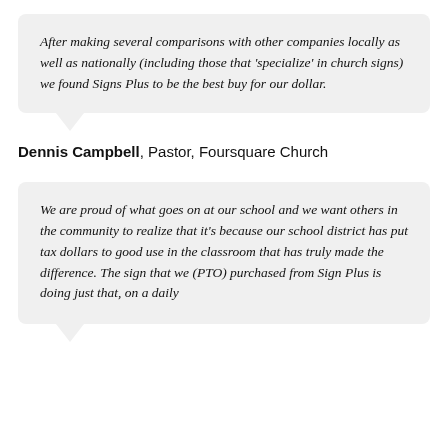After making several comparisons with other companies locally as well as nationally (including those that 'specialize' in church signs) we found Signs Plus to be the best buy for our dollar.
Dennis Campbell, Pastor, Foursquare Church
We are proud of what goes on at our school and we want others in the community to realize that it's because our school district has put tax dollars to good use in the classroom that has truly made the difference. The sign that we (PTO) purchased from Sign Plus is doing just that, on a daily